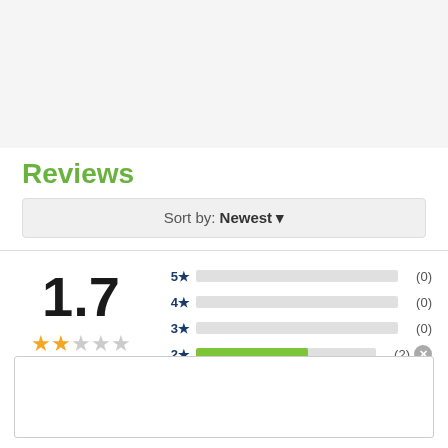Reviews
Sort by: Newest
[Figure (bar-chart): Rating distribution]
1.7
3 reviews